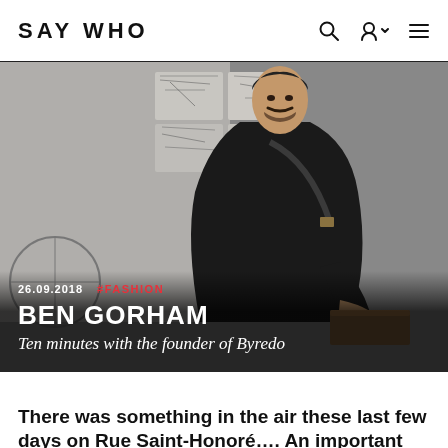SAY WHO
[Figure (photo): Man with mustache dressed in black jacket and trousers seated in front of sketched drawings/artwork on wall. Date and tags overlaid: 26.09.2018 #FASHION. Title: BEN GORHAM. Subtitle: Ten minutes with the founder of Byredo]
There was something in the air these last few days on Rue Saint-Honoré…. An important